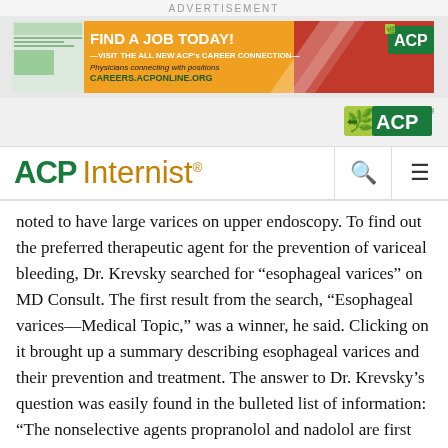ADVERTISEMENT
[Figure (screenshot): ACP Career Connection advertisement banner: 'FIND A JOB TODAY! VISIT THE ALL NEW ACP's CAREER CONNECTION — Physicians connecting with positions. CAREERS.ACPONLINE.ORG' with ACP logo]
[Figure (logo): ACP logo in navigation bar]
ACP Internist
noted to have large varices on upper endoscopy. To find out the preferred therapeutic agent for the prevention of variceal bleeding, Dr. Krevsky searched for “esophageal varices” on MD Consult. The first result from the search, “Esophageal varices—Medical Topic,” was a winner, he said. Clicking on it brought up a summary describing esophageal varices and their prevention and treatment. The answer to Dr. Krevsky’s question was easily found in the bulleted list of information: “The nonselective agents propranolol and nadolol are first choices.”